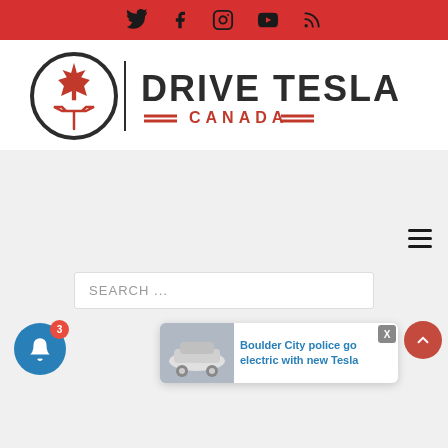Social media icons bar: Twitter, Facebook, Instagram, YouTube, RSS
[Figure (logo): Drive Tesla Canada logo with maple leaf and Tesla T emblem inside a circle, beside text DRIVE TESLA in dark gray with CANADA in red]
[Figure (other): Gray advertisement area with hamburger menu icon at bottom right]
SEARCH ...
[Figure (other): Blue notification bell button with badge showing 3, and article popup card: Boulder City police go electric with new Tesla, with close X button and red scroll-to-top arrow]